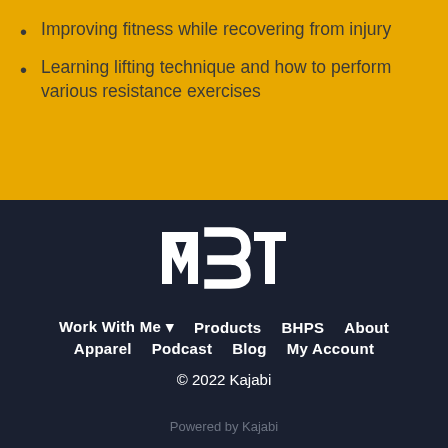Improving fitness while recovering from injury
Learning lifting technique and how to perform various resistance exercises
[Figure (logo): MBT logo in white on dark navy background]
Work With Me ▾   Products   BHPS   About   Apparel   Podcast   Blog   My Account
© 2022 Kajabi
Powered by Kajabi